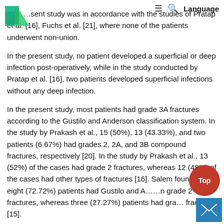The present study was in accordance with the studies of Pratap et al. [16], Fuchs et al. [21], where none of the patients underwent non-union.
In the present study, no patient developed a superficial or deep infection post-operatively, while in the study conducted by Pratap et al. [16], two patients developed superficial infections without any deep infection.
In the present study, most patients had grade 3A fractures according to the Gustilo and Anderson classification system. In the study by Prakash et al., 15 (50%), 13 (43.33%), and two patients (6.67%) had grades 2, 2A, and 3B compound fractures, respectively [20]. In the study by Prakash et al., 13 (52%) of the cases had grade 2 fractures, whereas 12 (48%) of the cases had other types of fractures [16]. Salem found that eight (72.72%) patients had Gustilo and Anderson grade 2 fractures, whereas three (27.27%) patients had grade 3B fractures [15].